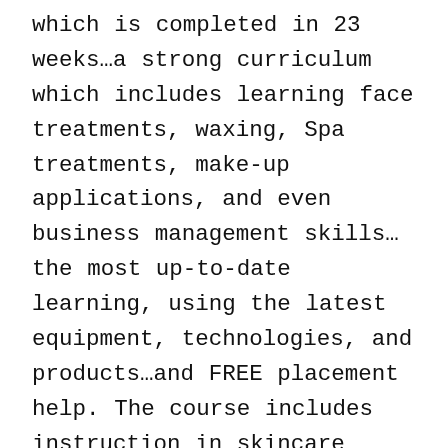which is completed in 23 weeks…a strong curriculum which includes learning face treatments, waxing, Spa treatments, make-up applications, and even business management skills…the most up-to-date learning, using the latest equipment, technologies, and products…and FREE placement help. The course includes instruction in skincare services, the science of skin, how to give a recommendation on skin care regimen, electric modality, and essentials for a business of beauty. While some skin care professionals do have college degrees, you might find that it is